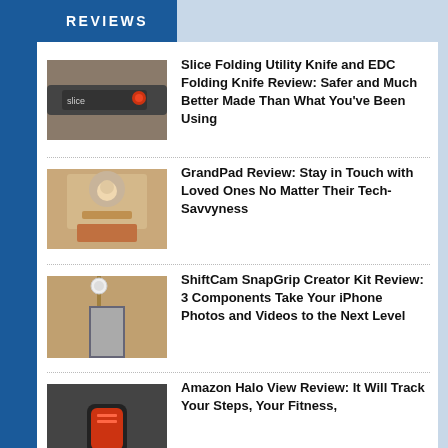REVIEWS
[Figure (photo): Photo of a black folding utility knife with red detail on a sandy surface]
Slice Folding Utility Knife and EDC Folding Knife Review: Safer and Much Better Made Than What You’ve Been Using
[Figure (photo): Photo of an elderly woman with glasses holding a red tablet device]
GrandPad Review: Stay in Touch with Loved Ones No Matter Their Tech-Savvyness
[Figure (photo): Photo of a person taking a selfie with a phone on a selfie stick with ring light]
ShiftCam SnapGrip Creator Kit Review: 3 Components Take Your iPhone Photos and Videos to the Next Level
[Figure (photo): Photo of an Amazon Halo View fitness tracker on a wrist]
Amazon Halo View Review: It Will Track Your Steps, Your Fitness,